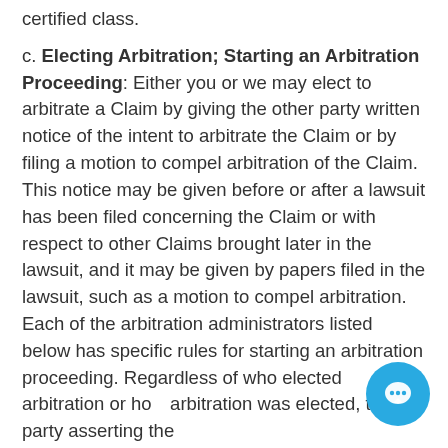certified class.
c. Electing Arbitration; Starting an Arbitration Proceeding: Either you or we may elect to arbitrate a Claim by giving the other party written notice of the intent to arbitrate the Claim or by filing a motion to compel arbitration of the Claim. This notice may be given before or after a lawsuit has been filed concerning the Claim or with respect to other Claims brought later in the lawsuit, and it may be given by papers filed in the lawsuit, such as a motion to compel arbitration. Each of the arbitration administrators listed below has specific rules for starting an arbitration proceeding. Regardless of who elected arbitration or how arbitration was elected, the party asserting the